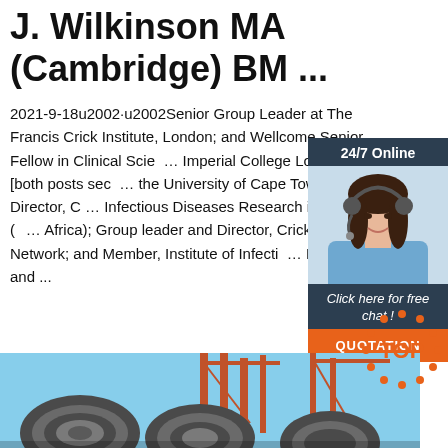J. Wilkinson MA (Cambridge) BM ...
2021-9-18u2002·u2002Senior Group Leader at The Francis Crick Institute, London; and Wellcome Senior Fellow in Clinical Sciences, Imperial College London [both posts seconded from the University of Cape Town]; Director, CIDRI Infectious Diseases Research in Africa (CIDRI-Africa); Group leader and Director, Crick African Network; and Member, Institute of Infectious Disease and ...
[Figure (photo): Customer service agent photo with headset, smiling woman]
24/7 Online
Click here for free chat !
QUOTATION
Get Price
[Figure (photo): Industrial steel coils/wire rods with cranes in background]
[Figure (logo): TOP logo with orange dots arranged in a circle around orange TOP text]